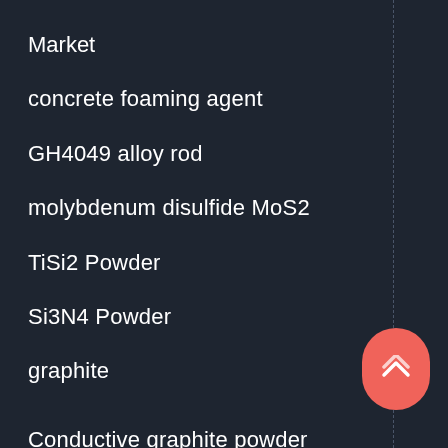Market
concrete foaming agent
GH4049 alloy rod
molybdenum disulfide MoS2
TiSi2 Powder
Si3N4 Powder
graphite
Conductive graphite powder
graphite price
powdered instant sodium silicate
gold nanoparticles
silicon carbide
Alloy Inconel718